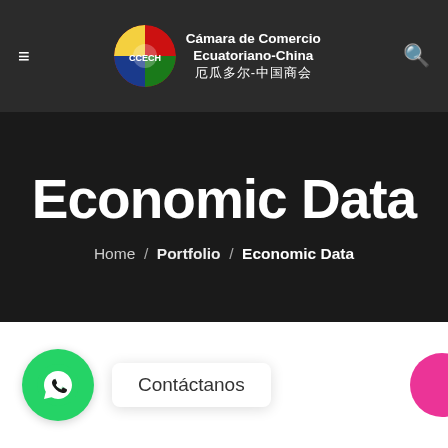Cámara de Comercio Ecuatoriano-China 厄瓜多尔-中国商会
Economic Data
Home / Portfolio / Economic Data
[Figure (other): WhatsApp contact button (green circle with WhatsApp icon) with a white rounded popup label reading 'Contáctanos', and a partially visible pink circle on the right edge]